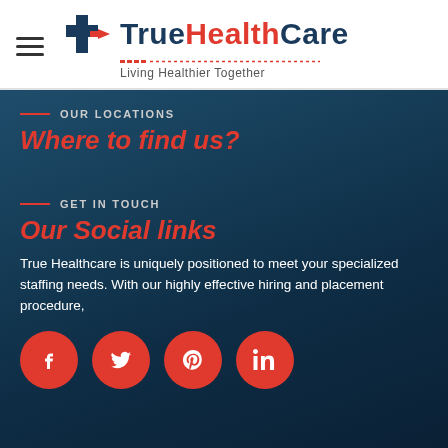True Health Care — Living Healthier Together
OUR LOCATIONS
Where to find us?
GET IN TOUCH
Our Social links
True Healthcare is uniquely positioned to meet your specialized staffing needs. With our highly effective hiring and placement procedure,
[Figure (infographic): Four red circular social media icon buttons: Facebook (f), Twitter (bird), Pinterest (P), LinkedIn (in)]